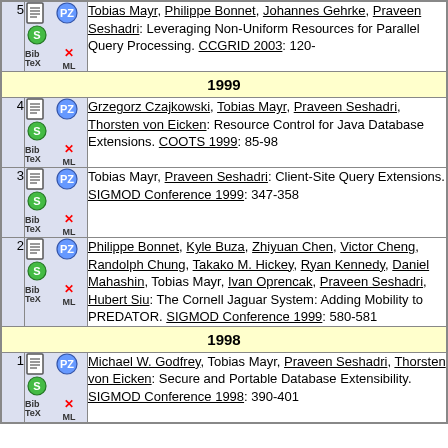| # | Icons | Reference |
| --- | --- | --- |
| 5 | [icons] | Tobias Mayr, Philippe Bonnet, Johannes Gehrke, Praveen Seshadri: Leveraging Non-Uniform Resources for Parallel Query Processing. CCGRID 2003: 120- |
| 1999 |  |  |
| 4 | [icons] | Grzegorz Czajkowski, Tobias Mayr, Praveen Seshadri, Thorsten von Eicken: Resource Control for Java Database Extensions. COOTS 1999: 85-98 |
| 3 | [icons] | Tobias Mayr, Praveen Seshadri: Client-Site Query Extensions. SIGMOD Conference 1999: 347-358 |
| 2 | [icons] | Philippe Bonnet, Kyle Buza, Zhiyuan Chen, Victor Cheng, Randolph Chung, Takako M. Hickey, Ryan Kennedy, Daniel Mahashin, Tobias Mayr, Ivan Oprencak, Praveen Seshadri, Hubert Siu: The Cornell Jaguar System: Adding Mobility to PREDATOR. SIGMOD Conference 1999: 580-581 |
| 1998 |  |  |
| 1 | [icons] | Michael W. Godfrey, Tobias Mayr, Praveen Seshadri, Thorsten von Eicken: Secure and Portable Database Extensibility. SIGMOD Conference 1998: 390-401 |